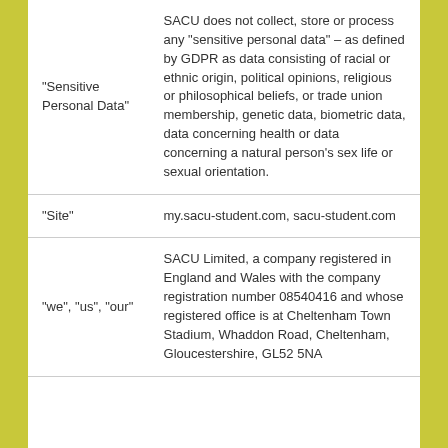| Term | Definition |
| --- | --- |
| “Sensitive Personal Data” | SACU does not collect, store or process any “sensitive personal data” – as defined by GDPR as data consisting of racial or ethnic origin, political opinions, religious or philosophical beliefs, or trade union membership, genetic data, biometric data, data concerning health or data concerning a natural person’s sex life or sexual orientation. |
| “Site” | my.sacu-student.com, sacu-student.com |
| “we”, “us”, “our” | SACU Limited, a company registered in England and Wales with the company registration number 08540416 and whose registered office is at Cheltenham Town Stadium, Whaddon Road, Cheltenham, Gloucestershire, GL52 5NA |